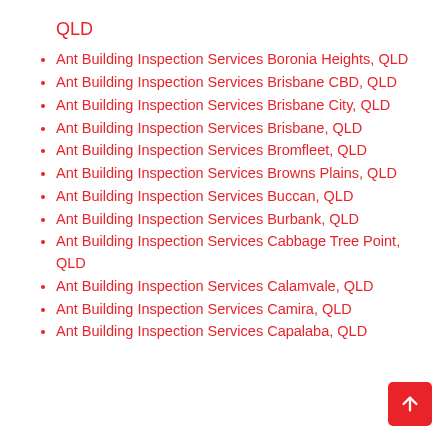QLD
Ant Building Inspection Services Boronia Heights, QLD
Ant Building Inspection Services Brisbane CBD, QLD
Ant Building Inspection Services Brisbane City, QLD
Ant Building Inspection Services Brisbane, QLD
Ant Building Inspection Services Bromfleet, QLD
Ant Building Inspection Services Browns Plains, QLD
Ant Building Inspection Services Buccan, QLD
Ant Building Inspection Services Burbank, QLD
Ant Building Inspection Services Cabbage Tree Point, QLD
Ant Building Inspection Services Calamvale, QLD
Ant Building Inspection Services Camira, QLD
Ant Building Inspection Services Capalaba, QLD